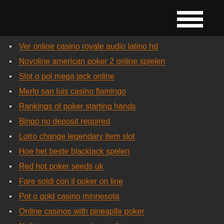Ver online casino royale audio latino hd
Novoline american poker 2 online spielen
Slot o pol mega jack online
Merlo san luis casino flamingo
Rankings of poker starting hands
Bingo no deposit required
Lotro change legendary item slot
Hoe het beste blackjack spelen
Red hot poker seeds uk
Fare soldi con il poker on line
Pot o gold casino minnesota
Online casinos with pineaplle poker
Neil perry crown casino melbourne